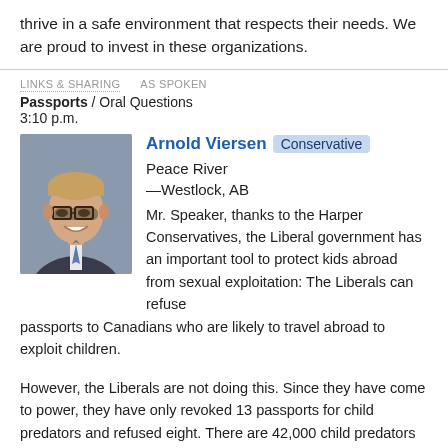thrive in a safe environment that respects their needs. We are proud to invest in these organizations.
LINKS & SHARING   AS SPOKEN
Passports / Oral Questions
3:10 p.m.
[Figure (photo): Portrait photo of Arnold Viersen, a young man with glasses wearing a suit]
Arnold Viersen  Conservative  Peace River—Westlock, AB
Mr. Speaker, thanks to the Harper Conservatives, the Liberal government has an important tool to protect kids abroad from sexual exploitation: The Liberals can refuse passports to Canadians who are likely to travel abroad to exploit children.
However, the Liberals are not doing this. Since they have come to power, they have only revoked 13 passports for child predators and refused eight. There are 42,000 child predators in Canada.